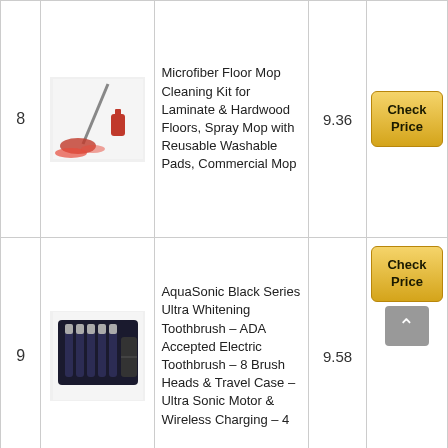| # | Image | Product Name | Score | Link |
| --- | --- | --- | --- | --- |
| 8 | [mop image] | Microfiber Floor Mop Cleaning Kit for Laminate & Hardwood Floors, Spray Mop with Reusable Washable Pads, Commercial Mop | 9.36 | Check Price |
| 9 | [toothbrush image] | AquaSonic Black Series Ultra Whitening Toothbrush – ADA Accepted Electric Toothbrush – 8 Brush Heads & Travel Case – Ultra Sonic Motor & Wireless Charging – 4 | 9.58 | Check Price |